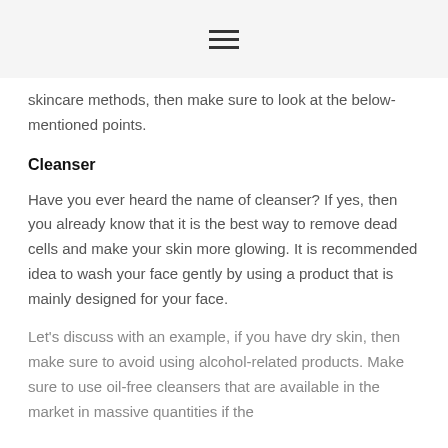≡
skincare methods, then make sure to look at the below-mentioned points.
Cleanser
Have you ever heard the name of cleanser? If yes, then you already know that it is the best way to remove dead cells and make your skin more glowing. It is recommended idea to wash your face gently by using a product that is mainly designed for your face.
Let's discuss with an example, if you have dry skin, then make sure to avoid using alcohol-related products. Make sure to use oil-free cleansers that are available in the market in massive quantities if the